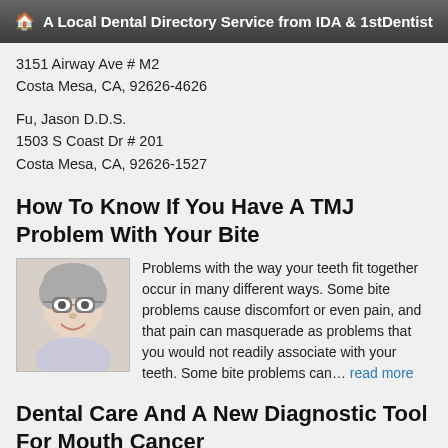A Local Dental Directory Service from IDA & 1stDentist
3151 Airway Ave # M2
Costa Mesa, CA, 92626-4626
Fu, Jason D.D.S.
1503 S Coast Dr # 201
Costa Mesa, CA, 92626-1527
How To Know If You Have A TMJ Problem With Your Bite
[Figure (photo): Portrait photo of an elderly woman with short gray hair and glasses, smiling]
Problems with the way your teeth fit together occur in many different ways. Some bite problems cause discomfort or even pain, and that pain can masquerade as problems that you would not readily associate with your teeth. Some bite problems can… read more
Dental Care And A New Diagnostic Tool For Mouth Cancer